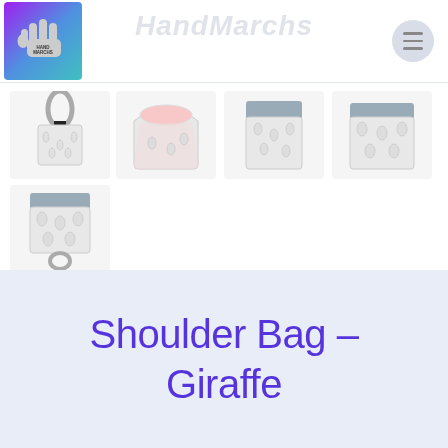[Figure (logo): HandMarchs logo: a hand icon on a purple-blue-teal gradient background square]
[Figure (photo): Gallery of 5 product photos showing a small giraffe-print shoulder bag from multiple angles: with carabiner clip, open showing pink interior, front view open, side view, and angled bottom view]
Shoulder Bag – Giraffe